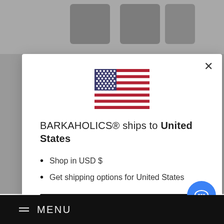[Figure (screenshot): Website screenshot background showing product images at top and dark navigation bar at bottom]
[Figure (illustration): United States flag SVG illustration in the center of the modal]
BARKAHOLICS® ships to United States
Shop in USD $
Get shipping options for United States
Shop now
Change shipping country